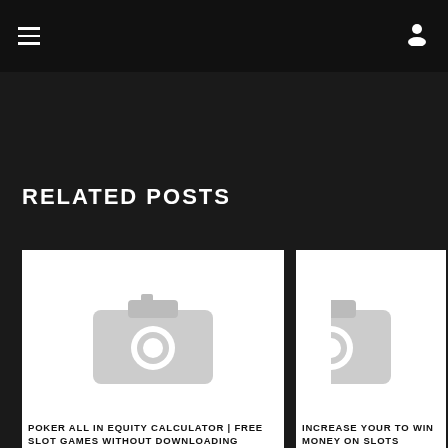≡  (user icon)
RELATED POSTS
[Figure (photo): Placeholder image with camera icon for post: POKER ALL IN EQUITY CALCULATOR | FREE SLOT GAMES WITHOUT DOWNLOADING]
POKER ALL IN EQUITY CALCULATOR | FREE SLOT GAMES WITHOUT DOWNLOADING
[Figure (photo): Placeholder image with camera icon (partially visible) for post: INCREASE YOUR TO WIN MONEY ON SLOTS]
INCREASE YOUR TO WIN MONEY ON SLOTS